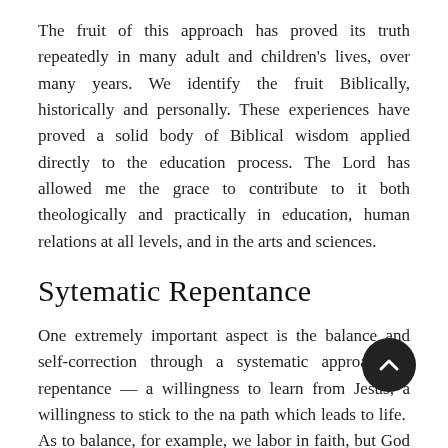The fruit of this approach has proved its truth repeatedly in many adult and children's lives, over many years. We identify the fruit Biblically, historically and personally. These experiences have proved a solid body of Biblical wisdom applied directly to the education process. The Lord has allowed me the grace to contribute to it both theologically and practically in education, human relations at all levels, and in the arts and sciences.
Sytematic Repentance
One extremely important aspect is the balance and self-correction through a systematic approach to repentance — a willingness to learn from Jesus, a willingness to stick to the na path which leads to life. As to balance, for example, we labor in faith, but God brings the increase. We have liberty in Christ, but we